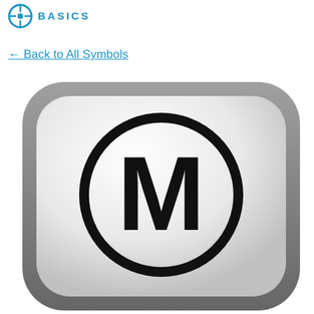[Figure (logo): Symbol Basics logo with a circle-crosshair icon and text BASICS in blue]
← Back to All Symbols
[Figure (illustration): A rounded-square button with gradient gray background containing a bold circle with the letter M inside]